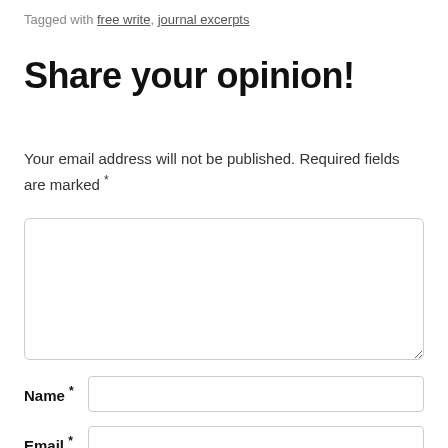Tagged with free write, journal excerpts
Share your opinion!
Your email address will not be published. Required fields are marked *
[Figure (other): Large comment text area input field]
Name *
Email *